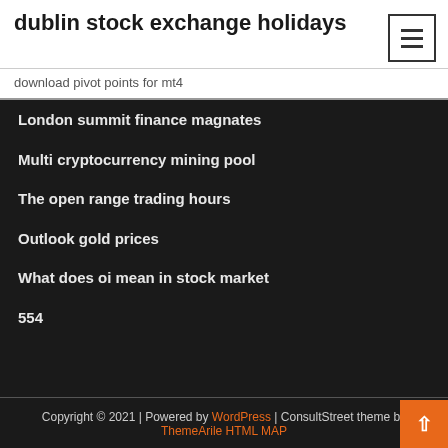dublin stock exchange holidays
download pivot points for mt4
London summit finance magnates
Multi cryptocurrency mining pool
The open range trading hours
Outlook gold prices
What does oi mean in stock market
554
Copyright © 2021 | Powered by WordPress | ConsultStreet theme by ThemeArile HTML MAP